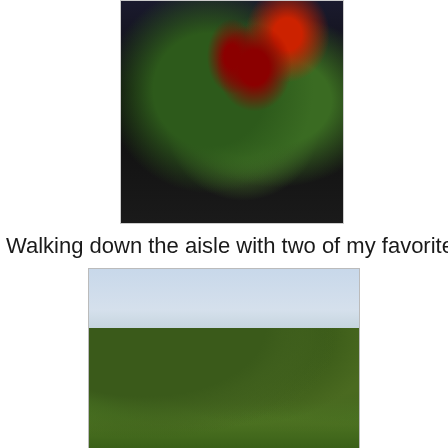[Figure (photo): Close-up photo showing dark silhouette figures with red flowering bush/roses in background]
Walking down the aisle with two of my favorite people
[Figure (photo): Outdoor photo showing trees and vegetation against a light overcast sky]